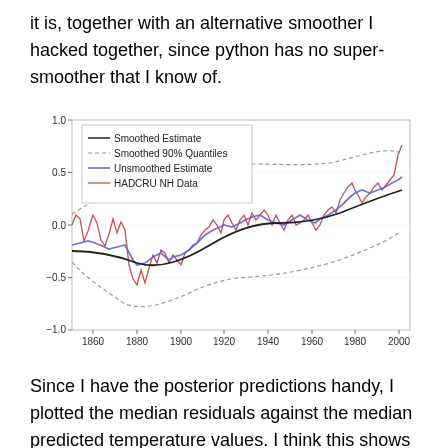it is, together with an alternative smoother I hacked together, since python has no super-smoother that I know of.
[Figure (continuous-plot): Time series chart from ~1850 to 2000 showing Smoothed Estimate (black solid line), Smoothed 90% Quantiles (grey dashed lines), Unsmoothed Estimate (blue solid line), and HADCRU NH Data (red line). Y-axis ranges from -1.0 to 1.0. The overall trend shows increasing temperatures over time.]
Since I have the posterior predictions handy, I plotted the median residuals against the median predicted temperature values. I think this shows that the error model